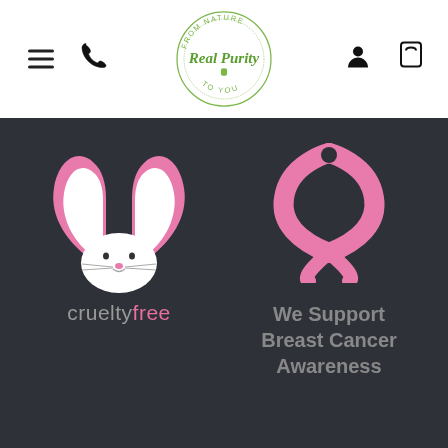[Figure (logo): Real Purity logo — circular design with text 'FROM NATURE TO YOU' around the circle border and 'Real Purity' script in green in the center with a small leaf icon]
[Figure (illustration): Cruelty-free bunny logo: pink heart-shaped ears with a white bunny face below, and text 'cruelty free' where 'cruelty' is grey and 'free' is pink]
[Figure (illustration): Pink breast cancer awareness ribbon icon]
We Support Breast Cancer Awareness